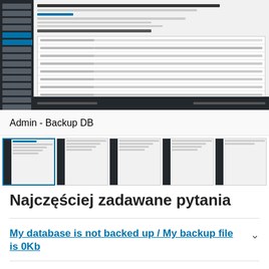[Figure (screenshot): WordPress admin panel showing Backup Database settings screen with sidebar navigation and a form with database backup configuration options]
Admin - Backup DB
[Figure (screenshot): Row of 5 thumbnail screenshots of WordPress admin database backup screens, first one highlighted with blue border]
Najczęściej zadawane pytania
My database is not backed up / My backup file is 0Kb
What is the difference between WP...